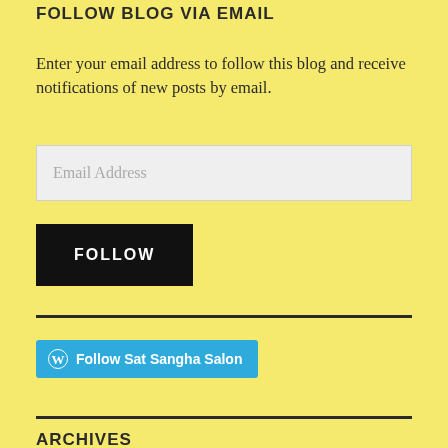FOLLOW BLOG VIA EMAIL
Enter your email address to follow this blog and receive notifications of new posts by email.
Email Address
FOLLOW
[Figure (other): WordPress Follow button with text: Follow Sat Sangha Salon]
ARCHIVES